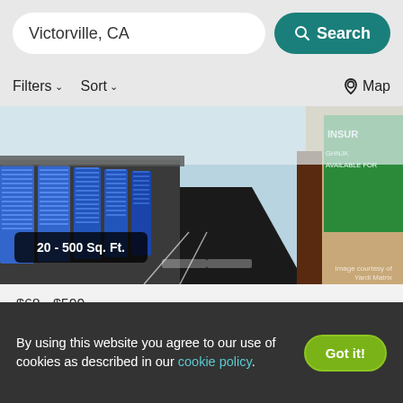Victorville, CA — Search | Filters | Sort | Map
[Figure (photo): Storage facility exterior showing rows of blue roll-up storage unit doors along a paved driveway, with a green insurance advertisement sign on the right side. Badge overlay reads '20 - 500 Sq. Ft.' Image credit: Yardi Matrix]
$68 - $599
Extra Space Storage – 15555 Yates Road, Victorville, CA 92395
SELF STORAGE
By using this website you agree to our use of cookies as described in our cookie policy.